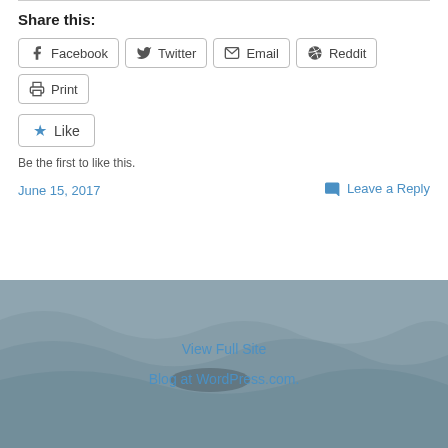Share this:
Facebook
Twitter
Email
Reddit
Print
Like
Be the first to like this.
June 15, 2017
Leave a Reply
View Full Site
Blog at WordPress.com.